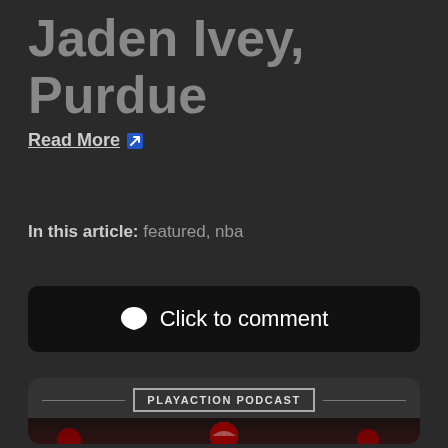Jaden Ivey, Purdue
Read More ↗
In this article: featured, nba
Click to comment
PLAYACTION PODCAST
[Figure (photo): Football players in red/crimson uniforms on the field, quarterback throwing]